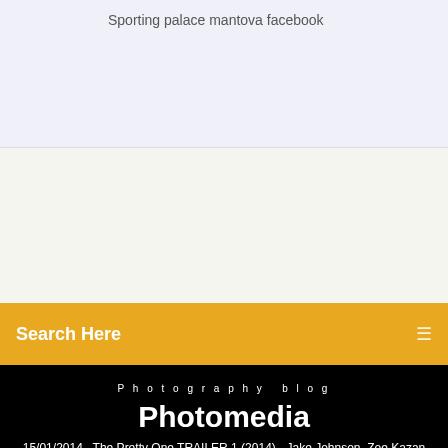Sporting palace mantova facebook
Search Here
Photography blog
Photomedia
15/01/2014 · The Pretty One TRAILER 1 (2014) - Jake Johnson, Zoe Kazan Comedy Movie HD When a woman's identical prettier twin sister dies, the woman assumes her ...